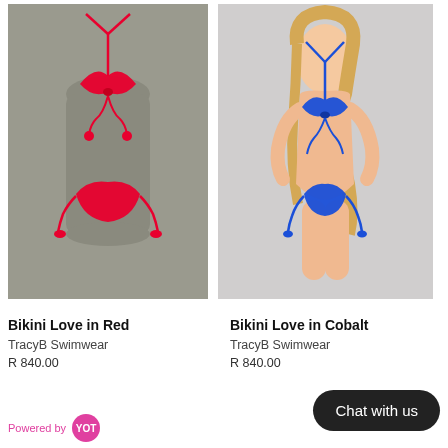[Figure (photo): Red bikini set displayed on a silver mannequin torso, tie-front top and tie-side bottoms]
[Figure (photo): Cobalt blue bikini set worn by a blonde female model, tie-front top and tie-side thong bottoms]
Bikini Love in Red
TracyB Swimwear
R 840.00
Bikini Love in Cobalt
TracyB Swimwear
R 840.00
Chat with us
Powered by